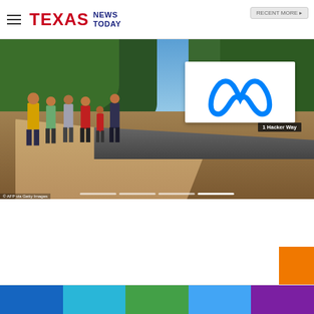Texas News Today
[Figure (photo): People walking in front of Meta headquarters sign at 1 Hacker Way, Menlo Park, showing the Meta infinity logo on a white billboard surrounded by trees]
© AFP via Getty Images
[Figure (infographic): Website footer with orange square accent and horizontal color bar sections in blue, cyan, green, light blue, and purple]